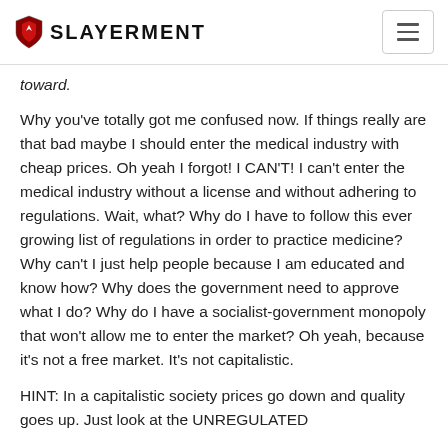SLAYERMENT
toward.
Why you've totally got me confused now. If things really are that bad maybe I should enter the medical industry with cheap prices. Oh yeah I forgot! I CAN'T! I can't enter the medical industry without a license and without adhering to regulations. Wait, what? Why do I have to follow this ever growing list of regulations in order to practice medicine? Why can't I just help people because I am educated and know how? Why does the government need to approve what I do? Why do I have a socialist-government monopoly that won't allow me to enter the market? Oh yeah, because it's not a free market. It's not capitalistic.
HINT: In a capitalistic society prices go down and quality goes up. Just look at the UNREGULATED